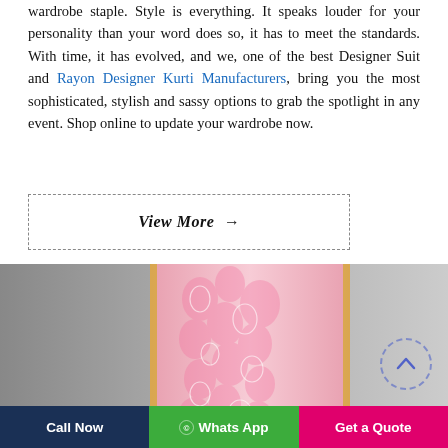wardrobe staple. Style is everything. It speaks louder for your personality than your word does so, it has to meet the standards. With time, it has evolved, and we, one of the best Designer Suit and Rayon Designer Kurti Manufacturers, bring you the most sophisticated, stylish and sassy options to grab the spotlight in any event. Shop online to update your wardrobe now.
View More →
[Figure (photo): A pink and white floral printed kurti/suit displayed against a grey gradient background, with a yellow border trim visible.]
Call Now
© Whats App
Get a Quote